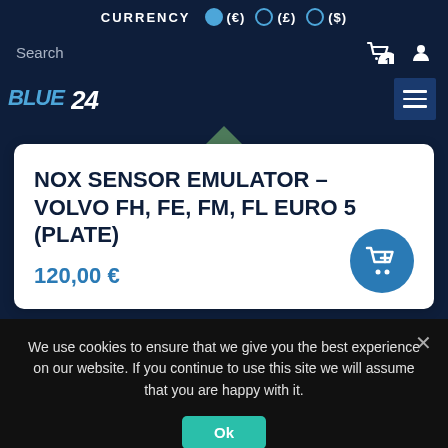CURRENCY (€) (£) ($)
Search
[Figure (logo): Blue24 logo with stylized text in blue and white italic font]
NOX SENSOR EMULATOR – VOLVO FH, FE, FM, FL EURO 5 (plate)
120,00 €
We use cookies to ensure that we give you the best experience on our website. If you continue to use this site we will assume that you are happy with it.
Ok